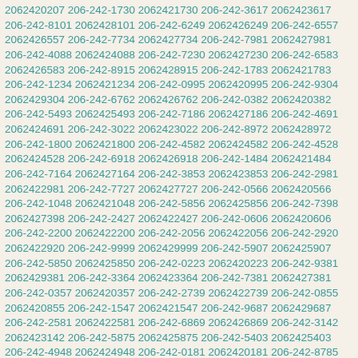2062420207 206-242-1730 2062421730 206-242-3617 2062423617 206-242-8101 2062428101 206-242-6249 2062426249 206-242-6557 2062426557 206-242-7734 2062427734 206-242-7981 2062427981 206-242-4088 2062424088 206-242-7230 2062427230 206-242-6583 2062426583 206-242-8915 2062428915 206-242-1783 2062421783 206-242-1234 2062421234 206-242-0995 2062420995 206-242-9304 2062429304 206-242-6762 2062426762 206-242-0382 2062420382 206-242-5493 2062425493 206-242-7186 2062427186 206-242-4691 2062424691 206-242-3022 2062423022 206-242-8972 2062428972 206-242-1800 2062421800 206-242-4582 2062424582 206-242-4528 2062424528 206-242-6918 2062426918 206-242-1484 2062421484 206-242-7164 2062427164 206-242-3853 2062423853 206-242-2981 2062422981 206-242-7727 2062427727 206-242-0566 2062420566 206-242-1048 2062421048 206-242-5856 2062425856 206-242-7398 2062427398 206-242-2427 2062422427 206-242-0606 2062420606 206-242-2200 2062422200 206-242-2056 2062422056 206-242-2920 2062422920 206-242-9999 2062429999 206-242-5907 2062425907 206-242-5850 2062425850 206-242-0223 2062420223 206-242-9381 2062429381 206-242-3364 2062423364 206-242-7381 2062427381 206-242-0357 2062420357 206-242-2739 2062422739 206-242-0855 2062420855 206-242-1547 2062421547 206-242-9687 2062429687 206-242-2581 2062422581 206-242-6869 2062426869 206-242-3142 2062423142 206-242-5875 2062425875 206-242-5403 2062425403 206-242-4948 2062424948 206-242-0181 2062420181 206-242-8785 2062428785 206-242-7343 2062427343 206-242-2275 2062422275 206-242-8600 2062428600 206-242-5148 2062425148 206-242-5170 2062425170 206-242-2135 2062422135 206-242-3679 2062423679 206-